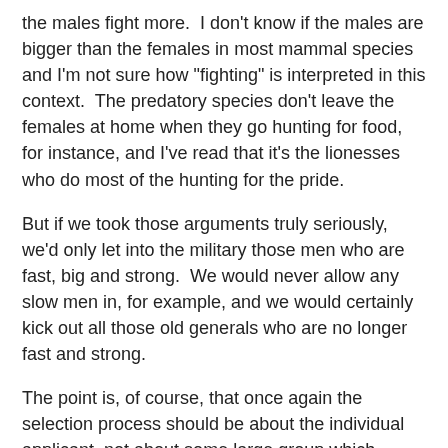the males fight more.  I don't know if the males are bigger than the females in most mammal species and I'm not sure how "fighting" is interpreted in this context.  The predatory species don't leave the females at home when they go hunting for food, for instance, and I've read that it's the lionesses who do most of the hunting for the pride.
But if we took those arguments truly seriously, we'd only let into the military those men who are fast, big and strong.  We would never allow any slow men in, for example, and we would certainly kick out all those old generals who are no longer fast and strong.
The point is, of course, that once again the selection process should be about the individual applicant, not about some large group which contains much variation inside it.   The more important point is that warfare is no longer based on who is the physically strongest, fastest and largest but on the use of weaponry, tactics, strategies and financial resources.
Those comments I quoted are from the older anti-feminist arguments.  I'm not strong enough today to cruise the hate